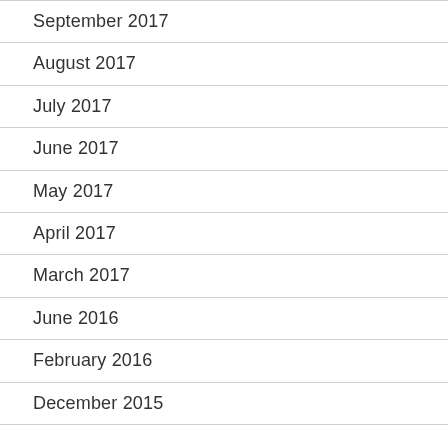September 2017
August 2017
July 2017
June 2017
May 2017
April 2017
March 2017
June 2016
February 2016
December 2015